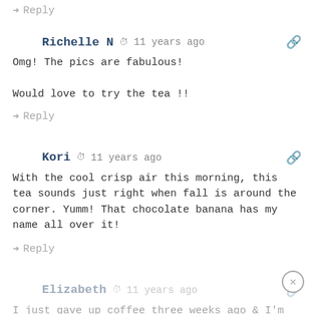↪ Reply
Richelle N ⊙ 11 years ago
Omg! The pics are fabulous!

Would love to try the tea !!
↪ Reply
Kori ⊙ 11 years ago
With the cool crisp air this morning, this tea sounds just right when fall is around the corner. Yumm! That chocolate banana has my name all over it!
↪ Reply
Elizabeth ⊙ 11 years ago
I just gave up coffee three weeks ago & I'm now a